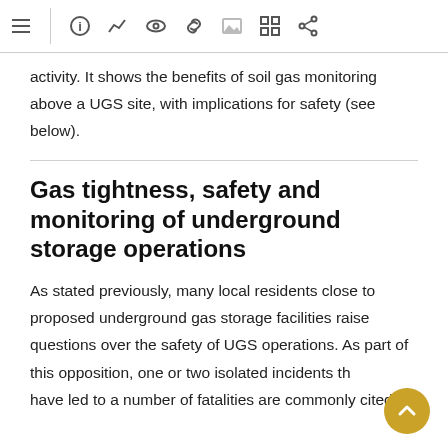toolbar with icons: menu, info, trend, eye, link, image, grid, share
activity. It shows the benefits of soil gas monitoring above a UGS site, with implications for safety (see below).
Gas tightness, safety and monitoring of underground storage operations
As stated previously, many local residents close to proposed underground gas storage facilities raise questions over the safety of UGS operations. As part of this opposition, one or two isolated incidents that have led to a number of fatalities are commonly cited.